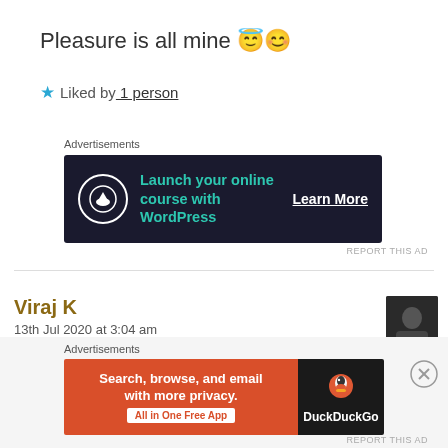Pleasure is all mine 😇😊
★ Liked by 1 person
Advertisements
[Figure (screenshot): Dark banner advertisement: circle icon with tree/upload symbol, text 'Launch your online course with WordPress', 'Learn More' button]
REPORT THIS AD
Viraj K
13th Jul 2020 at 3:04 am
[Figure (photo): User avatar photo of Viraj K, dark image]
It's beautifully written, I remembered my experiences when I was going through it.
Advertisements
[Figure (screenshot): DuckDuckGo advertisement: orange left panel with 'Search, browse, and email with more privacy. All in One Free App', dark right panel with DuckDuckGo duck logo and brand name]
REPORT THIS AD